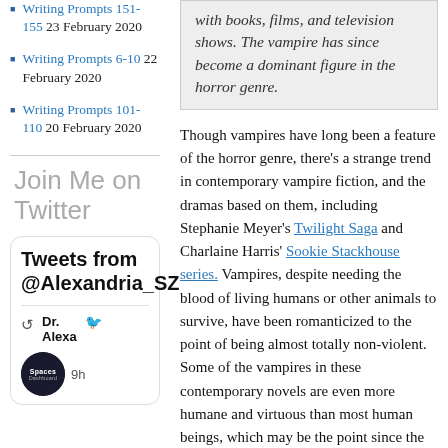Writing Prompts 151-155 23 February 2020
Writing Prompts 6-10 22 February 2020
Writing Prompts 101-110 20 February 2020
Join Me on Twitter
Tweets from @Alexandria_SZ
Dr. Alexa
Spaces Dashboard · 9h
with books, films, and television shows. The vampire has since become a dominant figure in the horror genre.
Though vampires have long been a feature of the horror genre, there's a strange trend in contemporary vampire fiction, and the dramas based on them, including Stephanie Meyer's Twilight Saga and Charlaine Harris' Sookie Stackhouse series. Vampires, despite needing the blood of living humans or other animals to survive, have been romanticized to the point of being almost totally non-violent. Some of the vampires in these contemporary novels are even more humane and virtuous than most human beings, which may be the point since the novels in which these vampires appear are romances and love